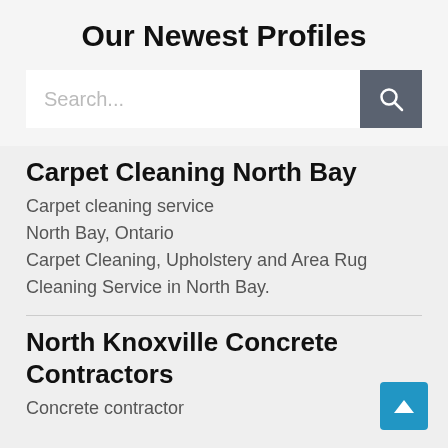Our Newest Profiles
[Figure (screenshot): Search input box with text placeholder 'Search...' and a dark grey search button with magnifying glass icon]
Carpet Cleaning North Bay
Carpet cleaning service
North Bay, Ontario
Carpet Cleaning, Upholstery and Area Rug Cleaning Service in North Bay.
North Knoxville Concrete Contractors
Concrete contractor